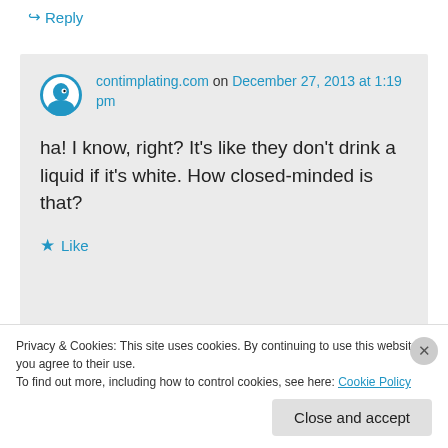↪ Reply
contimplating.com on December 27, 2013 at 1:19 pm
ha! I know, right? It's like they don't drink a liquid if it's white. How closed-minded is that?
★ Like
↪ Reply
Privacy & Cookies: This site uses cookies. By continuing to use this website, you agree to their use.
To find out more, including how to control cookies, see here: Cookie Policy
Close and accept